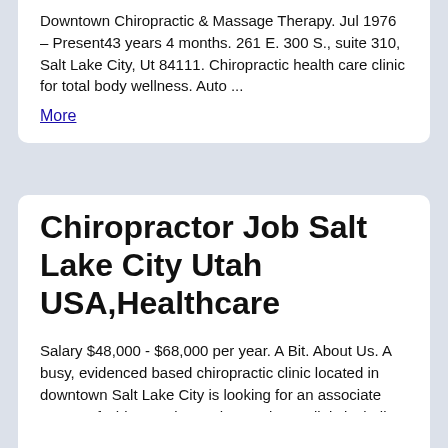Downtown Chiropractic & Massage Therapy. Jul 1976 – Present43 years 4 months. 261 E. 300 S., suite 310, Salt Lake City, Ut 84111. Chiropractic health care clinic for total body wellness. Auto ... More
Chiropractor Job Salt Lake City Utah USA,Healthcare
Salary $48,000 - $68,000 per year. A Bit. About Us. A busy, evidenced based chiropractic clinic located in downtown Salt Lake City is looking for an associate Doctor of Chiropractic. We have a large clinic including 3 treatment rooms, 2 massage therapy rooms, intake room, and a rehab training room. We have receptionists on staff during normal ... More